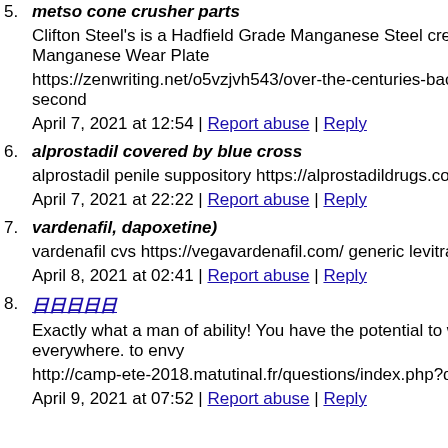5. metso cone crusher parts
Clifton Steel's is a Hadfield Grade Manganese Steel created to Manganese Wear Plate
https://zenwriting.net/o5vzjvh543/over-the-centuries-back-the-second
April 7, 2021 at 12:54 | Report abuse | Reply
6. alprostadil covered by blue cross
alprostadil penile suppository https://alprostadildrugs.com/ ere
April 7, 2021 at 22:22 | Report abuse | Reply
7. vardenafil, dapoxetine)
vardenafil cvs https://vegavardenafil.com/ generic levitra varde
April 8, 2021 at 02:41 | Report abuse | Reply
8. 日日日日日
Exactly what a man of ability! You have the potential to write everywhere. to envy
http://camp-ete-2018.matutinal.fr/questions/index.php?qa=use
April 9, 2021 at 07:52 | Report abuse | Reply